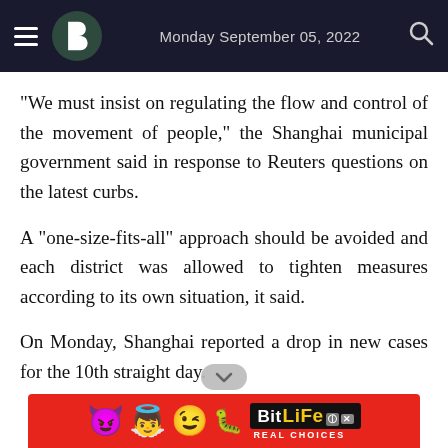Monday September 05, 2022
"We must insist on regulating the flow and control of the movement of people," the Shanghai municipal government said in response to Reuters questions on the latest curbs.
A "one-size-fits-all" approach should be avoided and each district was allowed to tighten measures according to its own situation, it said.
On Monday, Shanghai reported a drop in new cases for the 10th straight day.
[Figure (other): Advertisement banner for BitLife game — red background with cartoon emojis (devil, girl with halo, winking face) and BitLife logo with 'REAL CHOICES' tagline]